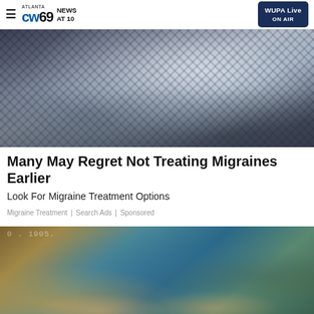Atlanta CW69 News At 10 | WUPA Live ON AIR
[Figure (photo): Woman in blue and white checkered shirt lying on a grey couch, tilting her head back]
Many May Regret Not Treating Migraines Earlier
Look For Migraine Treatment Options
Migraine Treatment | Search Ads | Sponsored
[Figure (photo): Two young women standing in front of a colorful graffiti mural wall]